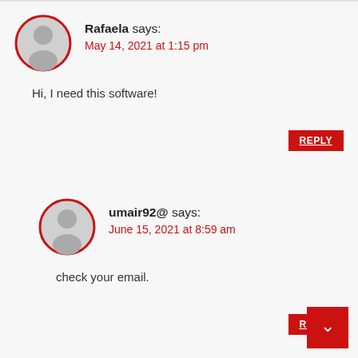Rafaela says:
May 14, 2021 at 1:15 pm
Hi, I need this software!
REPLY
umair92@ says:
June 15, 2021 at 8:59 am
check your email.
REPLY